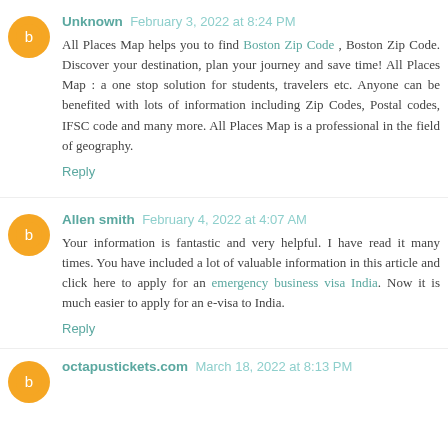Unknown  February 3, 2022 at 8:24 PM
All Places Map helps you to find Boston Zip Code , Boston Zip Code. Discover your destination, plan your journey and save time! All Places Map : a one stop solution for students, travelers etc. Anyone can be benefited with lots of information including Zip Codes, Postal codes, IFSC code and many more. All Places Map is a professional in the field of geography.
Reply
Allen smith  February 4, 2022 at 4:07 AM
Your information is fantastic and very helpful. I have read it many times. You have included a lot of valuable information in this article and click here to apply for an emergency business visa India. Now it is much easier to apply for an e-visa to India.
Reply
octapustickets.com  March 18, 2022 at 8:13 PM